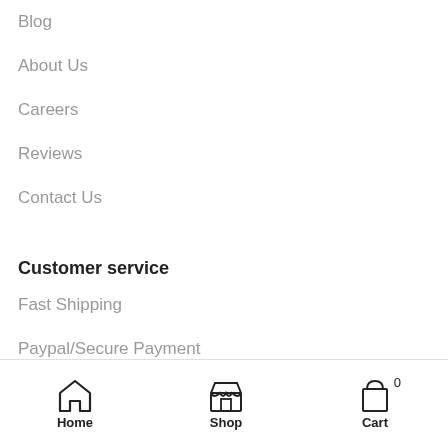Blog
About Us
Careers
Reviews
Contact Us
Customer service
Fast Shipping
Paypal/Secure Payment
30 Days Return Policy
Home  Shop  Cart (0)